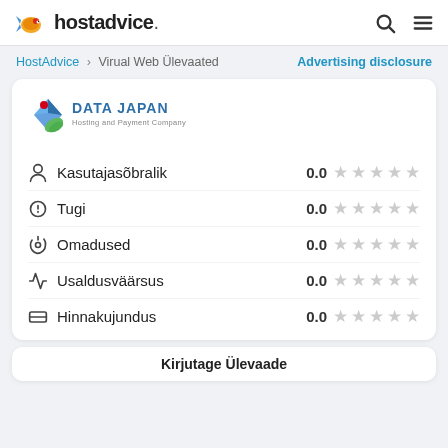hostadvice.
HostAdvice > Virual Web Ülevaated   Advertising disclosure
[Figure (logo): Data Japan Hosting and Payment Company logo]
Kasutajasõbralik 0.0 ★★★★★
Tugi 0.0 ★★★★★
Omadused 0.0 ★★★★★
Usaldusväärsus 0.0 ★★★★★
Hinnakujundus 0.0 ★★★★★
Kirjutage Ülevaade